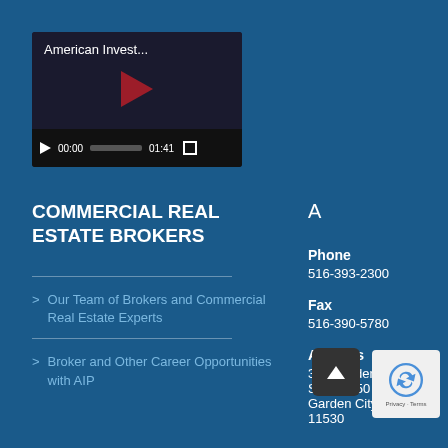[Figure (screenshot): Video player thumbnail showing 'American Invest...' with play button controls showing 00:00 / 01:41]
COMMERCIAL REAL ESTATE BROKERS
Our Team of Brokers and Commercial Real Estate Experts
Broker and Other Career Opportunities with AIP
A
Phone
516-393-2300
Fax
516-390-5780
Address
300 Garden City Pl
Suite #150
Garden City, NY 11530